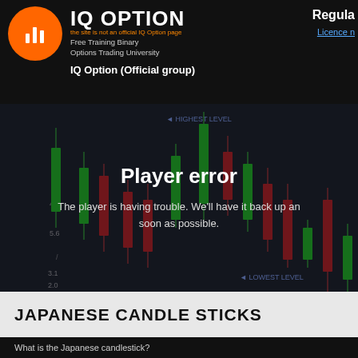IQ OPTION — Free Training Binary Options Trading University — IQ Option (Official group) — Regula — Licence n
[Figure (screenshot): Candlestick chart showing green and red Japanese candlesticks on a dark background with 'HIGHEST LEVEL' and 'LOWEST LEVEL' labels. Overlaid with a player error message: 'Player error — The player is having trouble. We'll have it back up and running as soon as possible.']
JAPANESE CANDLE STICKS
What is the Japanese candlestick?